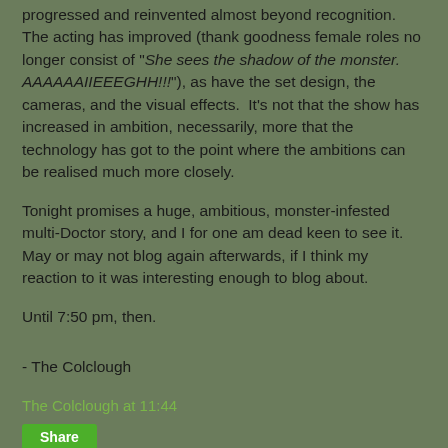progressed and reinvented almost beyond recognition.  The acting has improved (thank goodness female roles no longer consist of "She sees the shadow of the monster.  AAAAAAIIEEEGHH!!!"), as have the set design, the cameras, and the visual effects.  It's not that the show has increased in ambition, necessarily, more that the technology has got to the point where the ambitions can be realised much more closely.
Tonight promises a huge, ambitious, monster-infested multi-Doctor story, and I for one am dead keen to see it.  May or may not blog again afterwards, if I think my reaction to it was interesting enough to blog about.
Until 7:50 pm, then.
- The Colclough
The Colclough at 11:44
Share